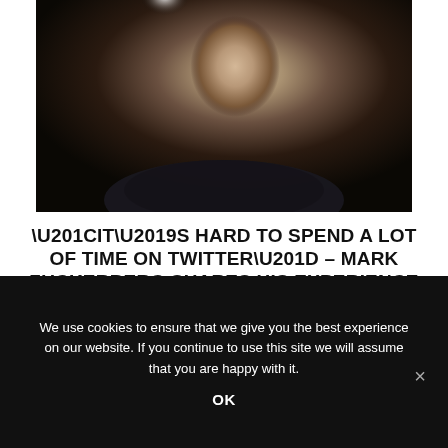[Figure (photo): Close-up portrait photo of Mark Zuckerberg against a dark background with a bright light in the upper left area]
“IT’S HARD TO SPEND A LOT OF TIME ON TWITTER” – MARK ZUCKERBERG SHARES HIS EXPERIENCE
BY NEWS DESK
PUBLISHED: AUGUST 27, 2022, 4:58 PM
UPDATED: AUGUST 27, 2022, 4:58 PM
We use cookies to ensure that we give you the best experience on our website. If you continue to use this site we will assume that you are happy with it.
OK